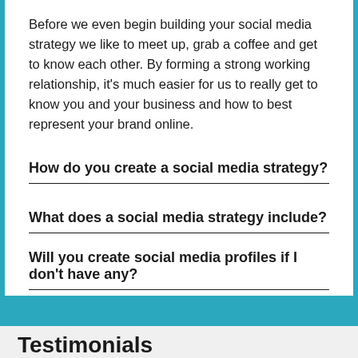Before we even begin building your social media strategy we like to meet up, grab a coffee and get to know each other. By forming a strong working relationship, it's much easier for us to really get to know you and your business and how to best represent your brand online.
How do you create a social media strategy?
What does a social media strategy include?
Will you create social media profiles if I don't have any?
Testimonials